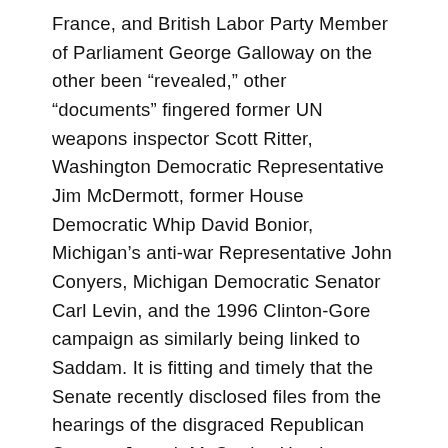France, and British Labor Party Member of Parliament George Galloway on the other been "revealed," other "documents" fingered former UN weapons inspector Scott Ritter, Washington Democratic Representative Jim McDermott, former House Democratic Whip David Bonior, Michigan's anti-war Representative John Conyers, Michigan Democratic Senator Carl Levin, and the 1996 Clinton-Gore campaign as similarly being linked to Saddam. It is fitting and timely that the Senate recently disclosed files from the hearings of the disgraced Republican Senator Joseph McCarthy. He also emulated Goebbels in using the "big lie" tactic. Rove and the neo-cons relish in the big lie tactic. It is their lifeblood. Without it they would be impotent. The neo-con's obsessive use of the lie means that whatever they state, the opposite is true. They are the liars. Those who call them on their lies are the truth sayers. The neo-cons now